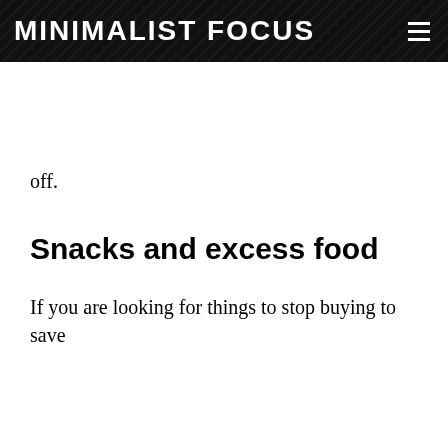MINIMALIST FOCUS
off.
Snacks and excess food
If you are looking for things to stop buying to save